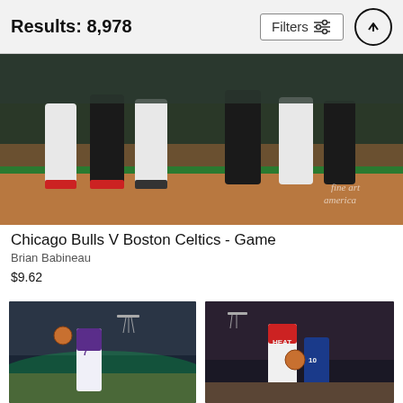Results: 8,978
[Figure (screenshot): Filters button with sliders icon and up-arrow circle button in header bar]
[Figure (photo): Basketball game photo showing Chicago Bulls vs Boston Celtics players on court with crowd in background. Fine Art America watermark visible.]
Chicago Bulls V Boston Celtics - Game
Brian Babineau
$9.62
[Figure (photo): Basketball player wearing number 7 Hornets jersey going up for a layup in arena with green court lighting]
[Figure (photo): Miami Heat player in white jersey driving to basket against New York Knicks player in blue jersey]